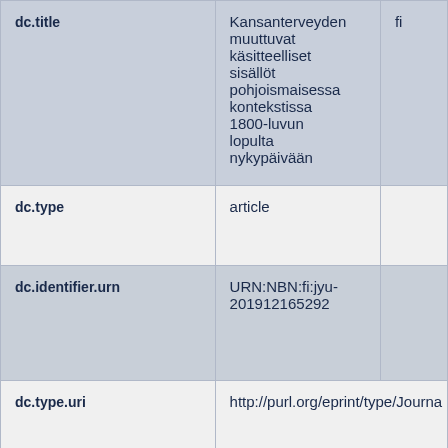| Field | Value |  |
| --- | --- | --- |
| dc.title | Kansanterveyden muuttuvat käsitteelliset sisällöt pohjoismaisessa kontekstissa 1800-luvun lopulta nykypäivään | fi |
| dc.type | article |  |
| dc.identifier.urn | URN:NBN:fi:jyu-201912165292 |  |
| dc.type.uri | http://purl.org/eprint/type/Journa... |  |
|  |  |  |